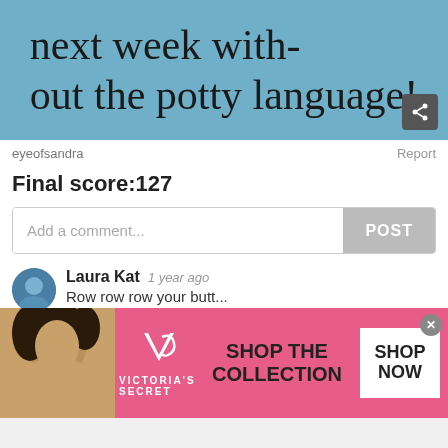[Figure (photo): Handwritten text on blue background reading 'next week without the potty language!' with a share button icon]
eyeofsandra
Report
Final score:127
Add a comment...
POST
Laura Kat  1 year ago
Row row row your butt...
↑ 103 ↓ Reply
View More Replies...
View more comments ∨
[Figure (photo): Victoria's Secret advertisement banner with model, VS logo, text 'SHOP THE COLLECTION' and 'SHOP NOW' button]